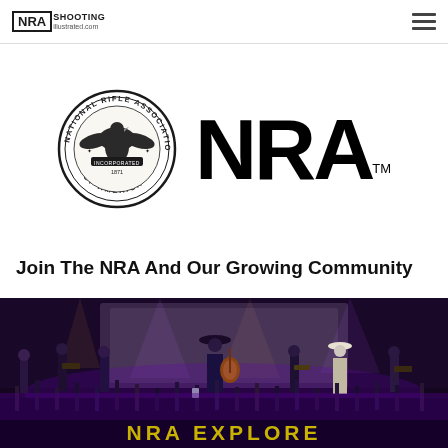NRA Shooting Illustrated · shootingillustrated.com
[Figure (logo): NRA National Rifle Association of America circular seal logo alongside large bold NRA wordmark with TM symbol]
Join The NRA And Our Growing Community
[Figure (photo): Concert photo showing country music performers on stage with guitars under purple stage lighting, with audience members raising hands in foreground. Text overlay at bottom reads NRA EXPLORE.]